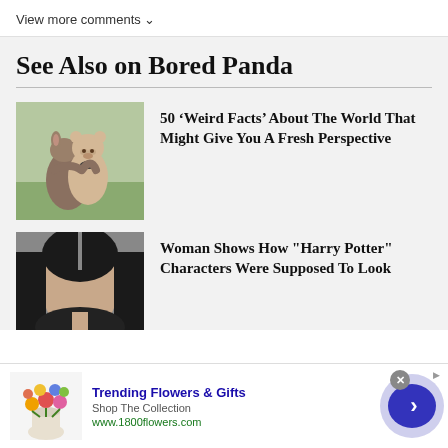View more comments ∨
See Also on Bored Panda
[Figure (photo): Kangaroo hugging a stuffed teddy bear outdoors]
50 'Weird Facts' About The World That Might Give You A Fresh Perspective
[Figure (photo): Woman with long dark hair parted in the middle, close-up portrait]
Woman Shows How "Harry Potter" Characters Were Supposed To Look
[Figure (photo): Advertisement: colorful flower bouquet in vase]
Trending Flowers & Gifts
Shop The Collection
www.1800flowers.com